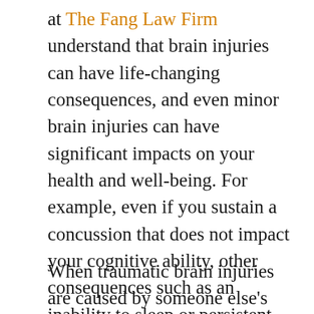at The Fang Law Firm understand that brain injuries can have life-changing consequences, and even minor brain injuries can have significant impacts on your health and well-being. For example, even if you sustain a concussion that does not impact your cognitive ability, other consequences such as an inability to sleep or persistent pain can disrupt your day-to-day life and interfere with your relationships.
When traumatic brain injuries are caused by someone else's negligent or reckless